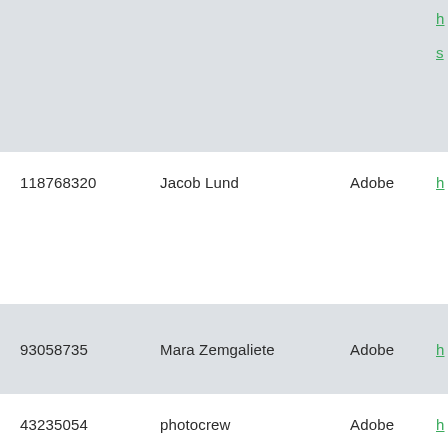| ID | Name | Source | Link |
| --- | --- | --- | --- |
| 118768320 | Jacob Lund | Adobe | h... |
| 93058735 | Mara Zemgaliete | Adobe | h... |
| 43235054 | photocrew | Adobe | h... |
| 124435393 | EVERST | Adobe |  |